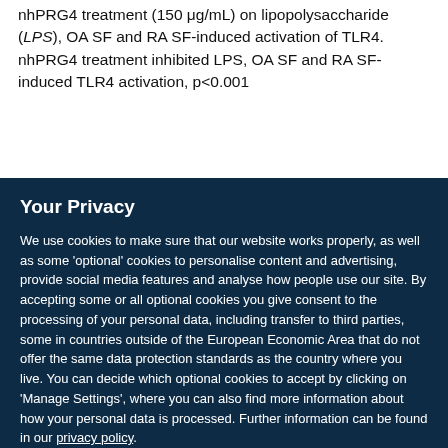nhPRG4 treatment (150 μg/mL) on lipopolysaccharide (LPS), OA SF and RA SF-induced activation of TLR4. nhPRG4 treatment inhibited LPS, OA SF and RA SF-induced TLR4 activation, p<0.001
Your Privacy
We use cookies to make sure that our website works properly, as well as some 'optional' cookies to personalise content and advertising, provide social media features and analyse how people use our site. By accepting some or all optional cookies you give consent to the processing of your personal data, including transfer to third parties, some in countries outside of the European Economic Area that do not offer the same data protection standards as the country where you live. You can decide which optional cookies to accept by clicking on 'Manage Settings', where you can also find more information about how your personal data is processed. Further information can be found in our privacy policy.
Accept all cookies
Manage preferences